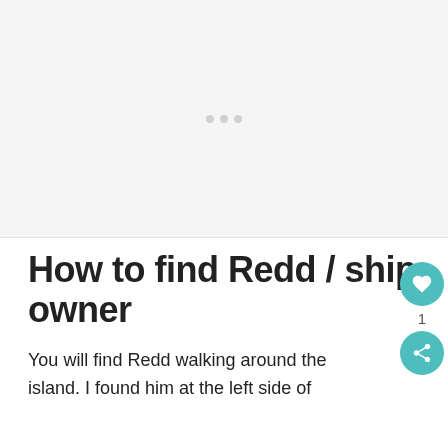[Figure (other): Loading image placeholder with grey background and three small grey dots in center]
How to find Redd / ship owner
You will find Redd walking around the island. I found him at the left side of